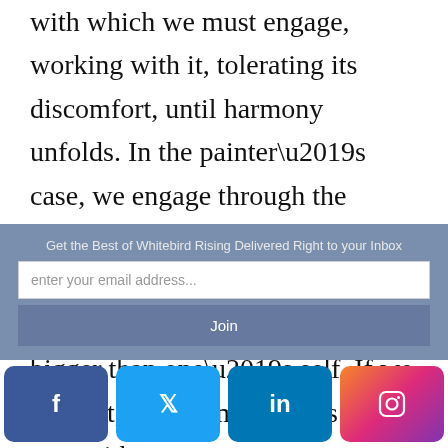with which we must engage, working with it, tolerating its discomfort, until harmony unfolds. In the painter’s case, we engage through the brush; in the case of a remarkable human being, through a purpose, a commitment to something bigger than one’s self. If we allow it, transformation has its way with us.
Get the Best of Whitebird Rising Delivered Right to your Inbox
enter your email address...
Join